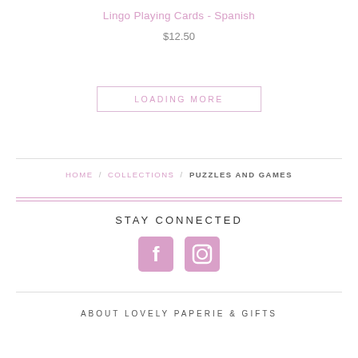Lingo Playing Cards - Spanish
$12.50
LOADING MORE
HOME / COLLECTIONS / PUZZLES AND GAMES
STAY CONNECTED
[Figure (illustration): Facebook and Instagram social media icons in pink/purple square buttons]
ABOUT LOVELY PAPERIE & GIFTS